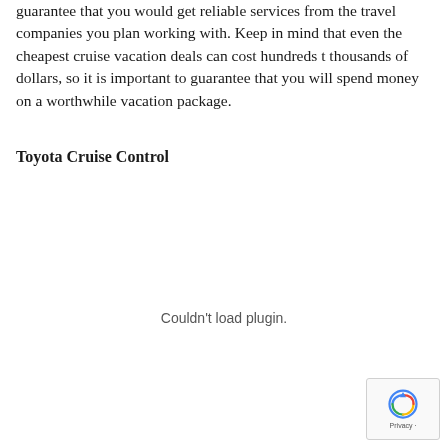guarantee that you would get reliable services from the travel companies you plan working with. Keep in mind that even the cheapest cruise vacation deals can cost hundreds t thousands of dollars, so it is important to guarantee that you will spend money on a worthwhile vacation package.
Toyota Cruise Control
Couldn't load plugin.